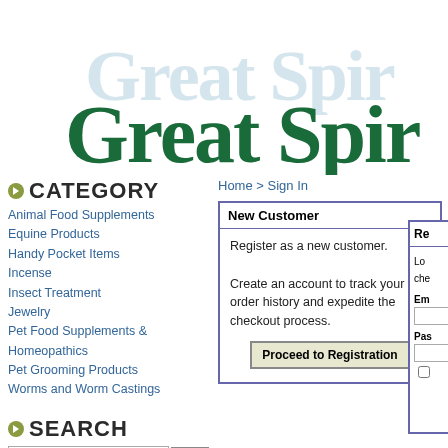[Figure (logo): Great Spirit website logo with light blue shadow text and dark green main text in decorative serif font]
CATEGORY
Animal Food Supplements
Equine Products
Handy Pocket Items
Incense
Insect Treatment
Jewelry
Pet Food Supplements & Homeopathics
Pet Grooming Products
Worms and Worm Castings
Home > Sign In
| New Customer |
| --- |
| Register as a new customer.

Create an account to track your order history and expedite the checkout process. |
| [Proceed to Registration] |
SEARCH
MORE INFO.
Kleen Green Naturally